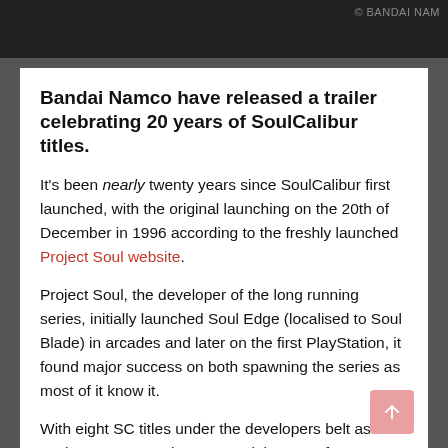© BANDAI NAM
Bandai Namco have released a trailer celebrating 20 years of SoulCalibur titles.
It's been nearly twenty years since SoulCalibur first launched, with the original launching on the 20th of December in 1996 according to the freshly launched Project Soul website.
Project Soul, the developer of the long running series, initially launched Soul Edge (localised to Soul Blade) in arcades and later on the first PlayStation, it found major success on both spawning the series as most of it know it.
With eight SC titles under the developers belt as well as those 20 years there's certainly cause for celebration. However, it would also be very nice if on the...